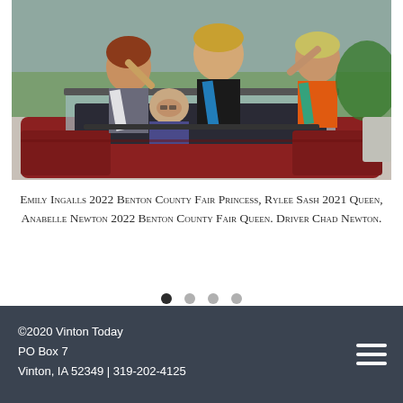[Figure (photo): Three young women wearing pageant sashes sitting/standing in the back of a red convertible car during a parade. Two women are waving. A man is visible in the driver's seat. The women appear to be fair royalty contestants.]
Emily Ingalls 2022 Benton County Fair Princess, Rylee Sash 2021 Queen, Anabelle Newton 2022 Benton County Fair Queen. Driver Chad Newton.
©2020 Vinton Today
PO Box 7
Vinton, IA 52349 | 319-202-4125